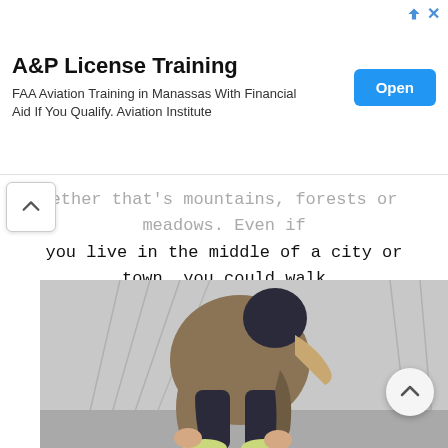[Figure (infographic): Advertisement banner for A&P License Training. Title: 'A&P License Training'. Subtitle: 'FAA Aviation Training in Manassas With Financial Aid If You Qualify. Aviation Institute'. Blue 'Open' button on the right. Small arrow and X icons in top-right corner.]
ether that's mountains, forests or meadows. Even if you live in the middle of a city or town, you could walk around and do some window shopping. It's such good exercise and doesn't cost a thing.
[Figure (photo): A person wearing a puffy brown jacket and dark beanie hat bending over to tie their shoe laces on a bridge or outdoor walkway. Hair is loose and blown forward. Green and white sneakers visible.]